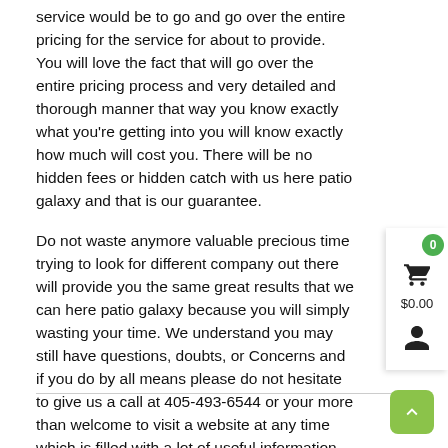service would be to go and go over the entire pricing for the service for about to provide. You will love the fact that will go over the entire pricing process and very detailed and thorough manner that way you know exactly what you're getting into you will know exactly how much will cost you. There will be no hidden fees or hidden catch with us here patio galaxy and that is our guarantee.
Do not waste anymore valuable precious time trying to look for different company out there will provide you the same great results that we can here patio galaxy because you will simply wasting your time. We understand you may still have questions, doubts, or Concerns and if you do by all means please do not hesitate to give us a call at 405-493-6544 or your more than welcome to visit a website at any time which is filled with a lot of useful information you may need in regards to the different types of service we can offer by going over to https://patiogalaxy.com